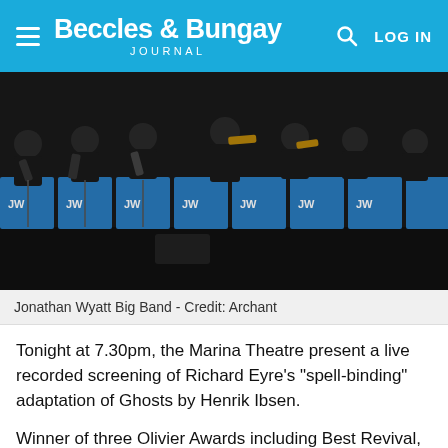Beccles & Bungay Journal
[Figure (photo): Jonathan Wyatt Big Band performing on stage, musicians in black suits playing brass and woodwind instruments in front of blue music stands marked with 'JW' initials.]
Jonathan Wyatt Big Band - Credit: Archant
Tonight at 7.30pm, the Marina Theatre present a live recorded screening of Richard Eyre's "spell-binding" adaptation of Ghosts by Henrik Ibsen.
Winner of three Olivier Awards including Best Revival, Best Actress and Best Supporting Actor, Ghosts transferred to the West End's Trafalgar Studios following a sell-out run at the Almeida Theatre.